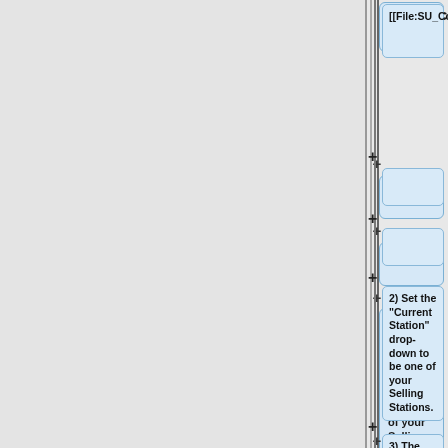[[File:SU_Conc_StationItem.PNG|300px]]
2) Set the "Current Station" drop-down to be one of your Selling Stations.
3) The "Station Item List" contains all the items this selling station is able to